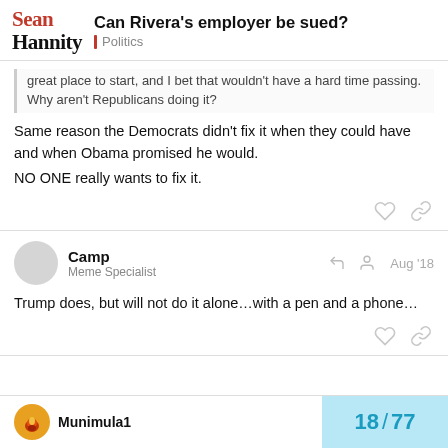Can Rivera's employer be sued? | Politics
great place to start, and I bet that wouldn't have a hard time passing. Why aren't Republicans doing it?
Same reason the Democrats didn't fix it when they could have and when Obama promised he would.

NO ONE really wants to fix it.
Camp
Meme Specialist
Aug '18
Trump does, but will not do it alone…with a pen and a phone…
Munimula1
18 / 77